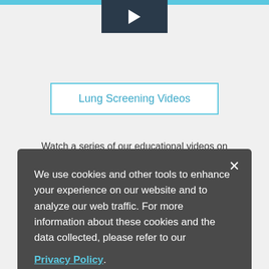[Figure (screenshot): Video thumbnail with play button at top of page]
Lung Screening Videos
Watch a series of our educational videos on lung screening including who's eligible.
We use cookies and other tools to enhance your experience on our website and to analyze our web traffic. For more information about these cookies and the data collected, please refer to our Privacy Policy.
[Figure (screenshot): Video thumbnail with play button in middle overlay area]
Bob's Story
Hear from a former smoker how